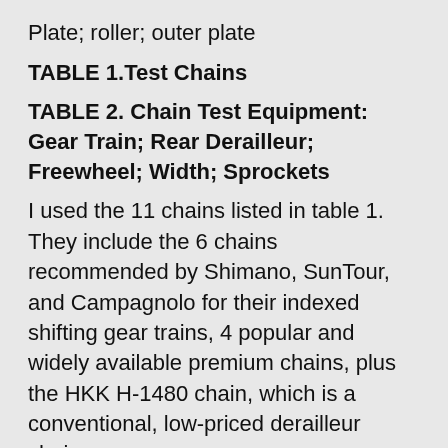Plate; roller; outer plate
TABLE 1.Test Chains
TABLE 2. Chain Test Equipment: Gear Train; Rear Derailleur; Freewheel; Width; Sprockets
I used the 11 chains listed in table 1. They include the 6 chains recommended by Shimano, SunTour, and Campagnolo for their indexed shifting gear trains, 4 popular and widely available premium chains, plus the HKK H-1480 chain, which is a conventional, low-priced derailleur chain.